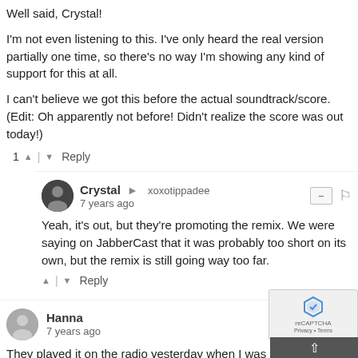Well said, Crystal!
I'm not even listening to this. I've only heard the real version partially one time, so there's no way I'm showing any kind of support for this at all.
I can't believe we got this before the actual soundtrack/score. (Edit: Oh apparently not before! Didn't realize the score was out today!)
Crystal → xoxotippadee
7 years ago
Yeah, it's out, but they're promoting the remix. We were saying on JabberCast that it was probably too short on its own, but the remix is still going way too far.
Hanna
7 years ago
They played it on the radio yesterday when I was at the g... was beyond awful, both in a musical and moral way: